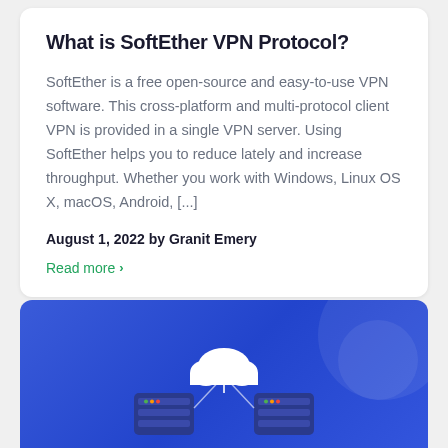What is SoftEther VPN Protocol?
SoftEther is a free open-source and easy-to-use VPN software. This cross-platform and multi-protocol client VPN is provided in a single VPN server. Using SoftEther helps you to reduce lately and increase throughput. Whether you work with Windows, Linux OS X, macOS, Android, [...]
August 1, 2022 by Granit Emery
Read more >
[Figure (illustration): Blue gradient card with a cloud and server/network illustration in white and blue tones, decorative circles in top-right corner]